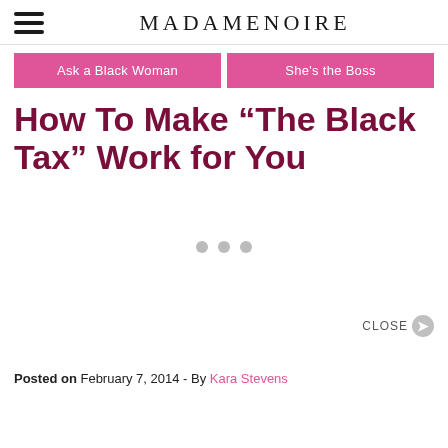MADAMENOIRE
Ask a Black Woman
She's the Boss
How To Make “The Black Tax” Work for You
Posted on February 7, 2014 - By Kara Stevens